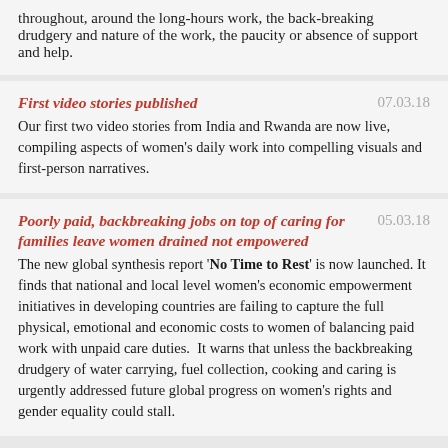throughout, around the long-hours work, the back-breaking drudgery and nature of the work, the paucity or absence of support and help.
First video stories published
07.03.18
Our first two video stories from India and Rwanda are now live, compiling aspects of women's daily work into compelling visuals and first-person narratives.
Poorly paid, backbreaking jobs on top of caring for families leave women drained not empowered
05.03.18
The new global synthesis report 'No Time to Rest' is now launched. It finds that national and local level women's economic empowerment initiatives in developing countries are failing to capture the full physical, emotional and economic costs to women of balancing paid work with unpaid care duties.  It warns that unless the backbreaking drudgery of water carrying, fuel collection, cooking and caring is urgently addressed future global progress on women's rights and gender equality could stall.